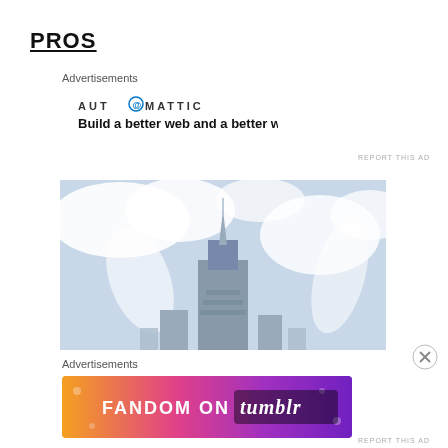PROS
Advertisements
[Figure (logo): Automattic logo with circular 'at' icon and uppercase lettering]
Build a better web and a better world.
REPORT THIS AD
[Figure (photo): Upward-looking photo of an ornate skyscraper (Chrysler Building style) against a light blue sky with clouds]
Advertisements
[Figure (infographic): Fandom on Tumblr advertisement banner with colorful gradient background (orange to purple) and white/black text reading FANDOM ON tumblr]
REPORT THIS AD